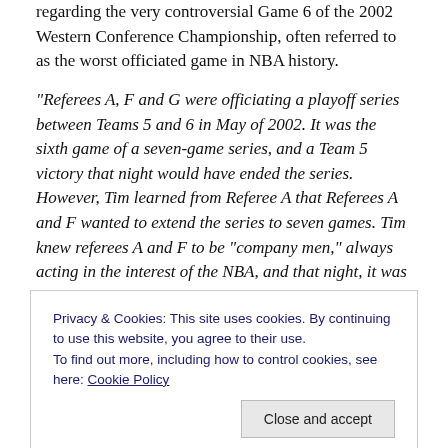regarding the very controversial Game 6 of the 2002 Western Conference Championship, often referred to as the worst officiated game in NBA history.
“Referees A, F and G were officiating a playoff series between Teams 5 and 6 in May of 2002. It was the sixth game of a seven-game series, and a Team 5 victory that night would have ended the series. However, Tim learned from Referee A that Referees A and F wanted to extend the series to seven games. Tim knew referees A and F to be “company men,” always acting in the interest of the NBA, and that night, it was in the NBA’s interest to add made-up fouls on Team 5 in order to give additional free
Privacy & Cookies: This site uses cookies. By continuing to use this website, you agree to their use.
To find out more, including how to control cookies, see here: Cookie Policy